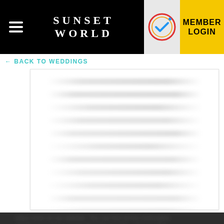SUNSET WORLD | MEMBER LOGIN
← BACK TO WEDDINGS
[Figure (screenshot): White content area with blurred/watermarked text lines]
RESORTS
DESTINATIONS
CANCUN
RIVIERA MAYA
EVENTS CALENDAR
SHARE REFERRAL PROGRAM
DAILY ACTIVITIES